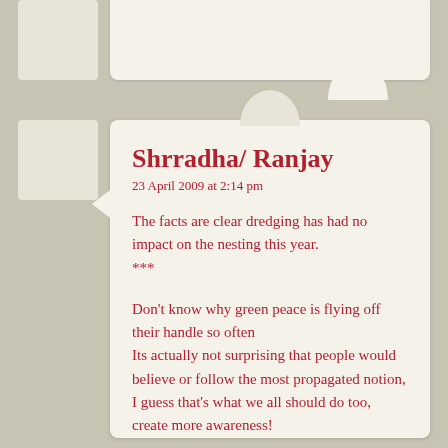Shrradha/ Ranjay
23 April 2009 at 2:14 pm
The facts are clear dredging has had no impact on the nesting this year. ***
Don’t know why green peace is flying off their handle so often
Its actually not surprising that people would believe or follow the most propagated notion,
I guess that’s what we all should do too, create more awareness!